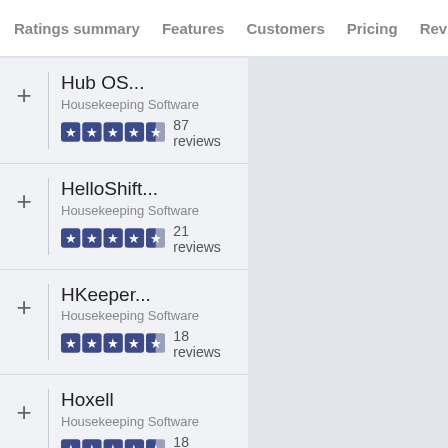Ratings summary   Features   Customers   Pricing   Review
Hub OS... | Housekeeping Software | 87 reviews | 4.5 stars
HelloShift... | Housekeeping Software | 21 reviews | 4.5 stars
HKeeper... | Housekeeping Software | 18 reviews | 4.5 stars
Hoxell | Housekeeping Software | 18 reviews | 4.5 stars
Lodgistics... | Housekeeping Software | 12 reviews | 4.5 stars